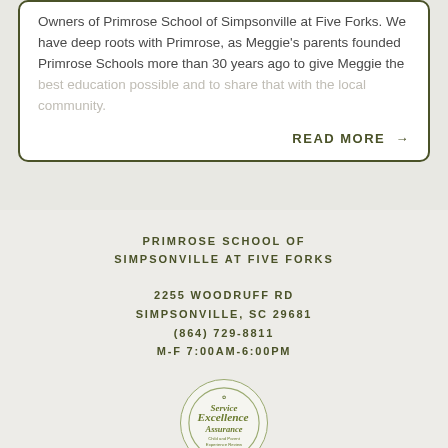Owners of Primrose School of Simpsonville at Five Forks. We have deep roots with Primrose, as Meggie's parents founded Primrose Schools more than 30 years ago to give Meggie the [faded continued text]
READ MORE →
PRIMROSE SCHOOL OF SIMPSONVILLE AT FIVE FORKS
2255 WOODRUFF RD
SIMPSONVILLE, SC 29681
(864) 729-8811
M-F 7:00AM-6:00PM
[Figure (logo): Circular badge/seal reading 'Service Excellence Assurance' with 'Child and Parent Experience Review' subtext and a small icon at the top]